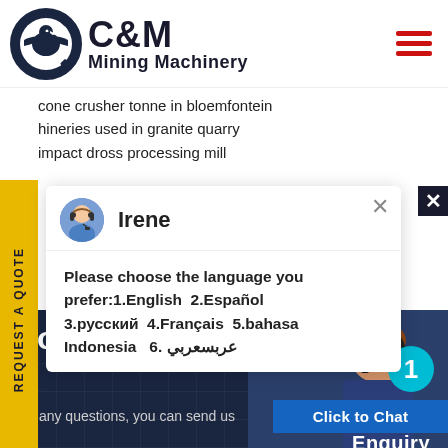[Figure (logo): C&M Mining Machinery logo with eagle/gear icon]
cone crusher tonne in bloemfontein
hineries used in granite quarry
impact dross processing mill
Irene
Please choose the language you prefer:1.English 2.Español 3.русский 4.Français 5.bahasa Indonesia 6. عربسعربي
Contact Us Now
For any questions, you can send us
Click to Chat
Enquiry